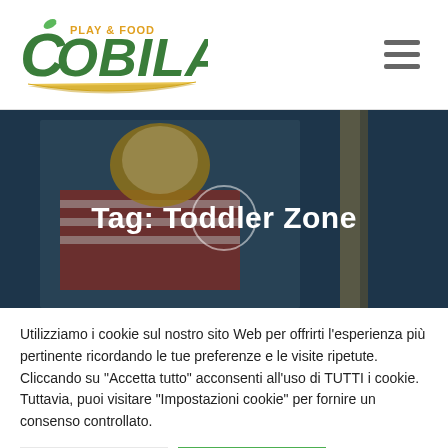Tobiland Play & Food — navigation header with logo and hamburger menu
[Figure (photo): Child wearing a red striped shirt and yellow helmet, smiling, on a playground rope structure. Dark blue/teal blurred background. Hero banner image with overlay text 'Tag: Toddler Zone'.]
Tag: Toddler Zone
Utilizziamo i cookie sul nostro sito Web per offrirti l'esperienza più pertinente ricordando le tue preferenze e le visite ripetute. Cliccando su "Accetta tutto" acconsenti all'uso di TUTTI i cookie. Tuttavia, puoi visitare "Impostazioni cookie" per fornire un consenso controllato.
Impostazioni Cookie | Accetto tutto